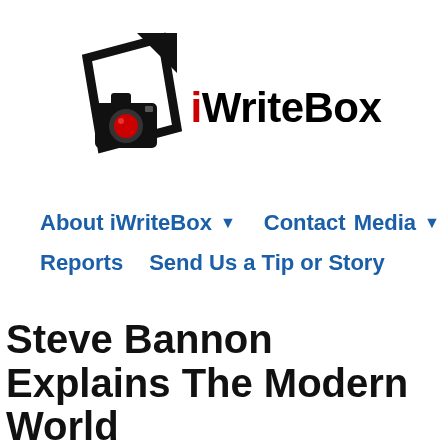[Figure (logo): iWriteBox logo — black geometric camera/box icon with a red lens detail, followed by the text 'iWriteBox' with 'i' in red and 'WriteBox' in black bold text]
About iWriteBox ▼   Contact   Media ▼   Reports   Send Us a Tip or Story
Steve Bannon Explains The Modern World